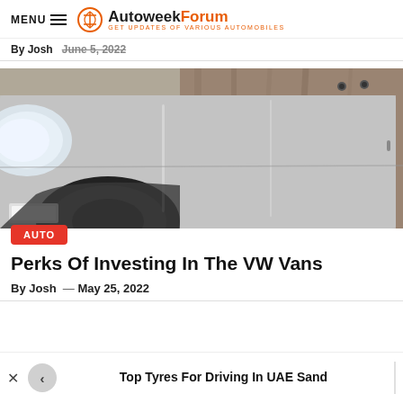MENU  AutoweekForum — GET UPDATES OF VARIOUS AUTOMOBILES
By Josh   June 5, 2022
[Figure (photo): Close-up photo of a silver/grey Volkswagen van showing the front headlight and side body panels]
AUTO
Perks Of Investing In The VW Vans
By Josh  — May 25, 2022
Top Tyres For Driving In UAE Sand